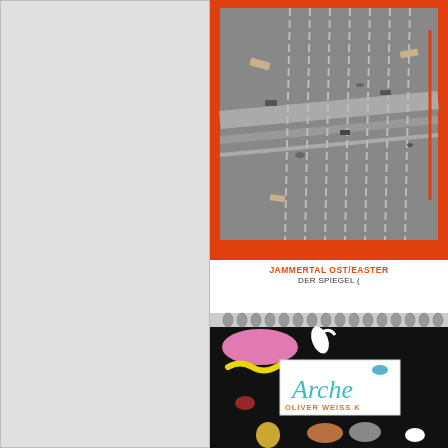[Figure (photo): Left panel: blank grey/light area with a thin border, occupying the left half of the page]
[Figure (photo): Top right: A book or magazine cover with a red/orange border frame containing a black-and-white image showing what appears to be a road or freeway scene from above with cars and scattered objects]
JAMMERTAL OST/EASTER
DER SPIEGEL (
[Figure (photo): Bottom right: A spiral-bound notebook with a black cover featuring colorful illustrated animals (cats, owls, birds, etc.) and a white label in the center reading 'Arche' in teal/turquoise letters with 'OLIVER WEISS K' in orange below]